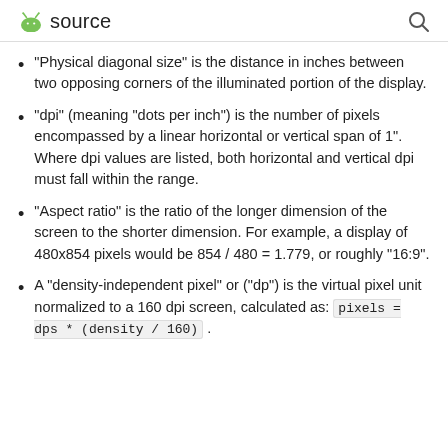source
"Physical diagonal size" is the distance in inches between two opposing corners of the illuminated portion of the display.
"dpi" (meaning "dots per inch") is the number of pixels encompassed by a linear horizontal or vertical span of 1". Where dpi values are listed, both horizontal and vertical dpi must fall within the range.
"Aspect ratio" is the ratio of the longer dimension of the screen to the shorter dimension. For example, a display of 480x854 pixels would be 854 / 480 = 1.779, or roughly "16:9".
A "density-independent pixel" or ("dp") is the virtual pixel unit normalized to a 160 dpi screen, calculated as: pixels = dps * (density / 160) .